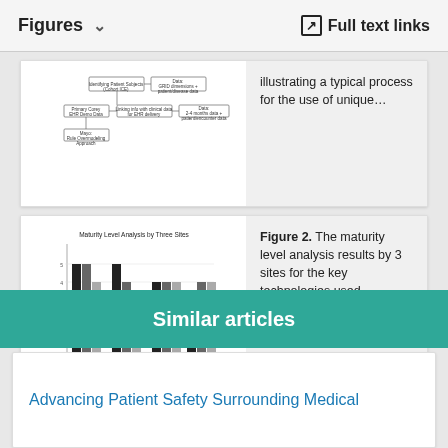Figures  Full text links
[Figure (flowchart): Flowchart illustrating a typical process for the use of unique patient identifiers]
illustrating a typical process for the use of unique…
[Figure (grouped-bar-chart): Maturity Level Analysis by Three Sites]
Figure 2. The maturity level analysis results by 3 sites for the key technologies used…
Similar articles
Advancing Patient Safety Surrounding Medical